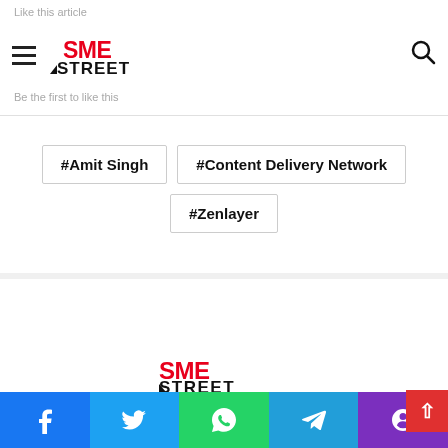[Figure (logo): SME Street logo in top navigation bar with hamburger menu and search icon]
Like this article
Be the first to like this
#Amit Singh
#Content Delivery Network
#Zenlayer
[Figure (logo): SMEStreet logo centered in author bio section]
SMEStreet Edit Desk
SMEStreet Edit Desk is a small group of excited and motivated journalists and editors who are committed to building MSM...